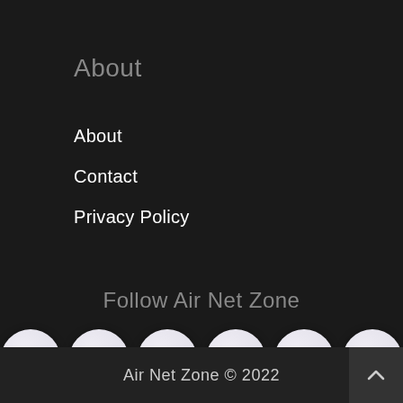About
About
Contact
Privacy Policy
Follow Air Net Zone
[Figure (other): Social media icons row: Facebook (blue f), Twitter (blue bird), Google+ (red/blue G+), YouTube (red play button), Pinterest (red P), Instagram (gradient camera)]
Air Net Zone © 2022